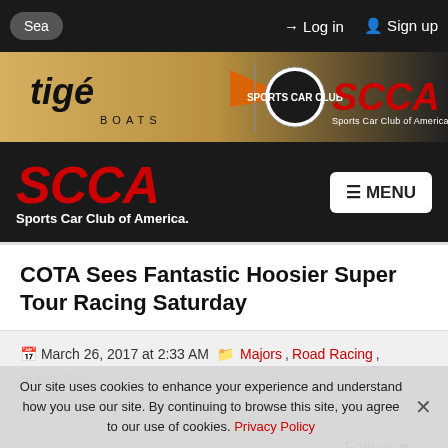Sea  Log in  Sign up
[Figure (logo): Tigé Boats and SCCA Sports Car Club of America banner advertisement with tan/gold background]
SCCA Sports Car Club of America.  ☰ MENU
COTA Sees Fantastic Hoosier Super Tour Racing Saturday
March 26, 2017 at 2:33 AM  Majors, Road Racing, Super Tour  17 COTA News
Follow
Our site uses cookies to enhance your experience and understand how you use our site. By continuing to browse this site, you agree to our use of cookies. Privacy Policy